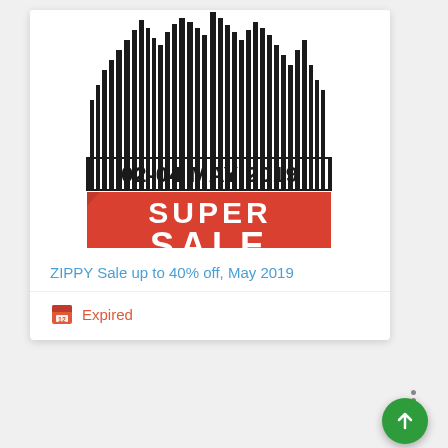[Figure (illustration): Promotional banner for ZIPPY Super Sale 02-04 May 2019 featuring a city skyline silhouette at the top, date text '02-04 MAY 2019', and large red rectangle with white bold text reading 'SUPER SALE']
ZIPPY Sale up to 40% off, May 2019
Expired